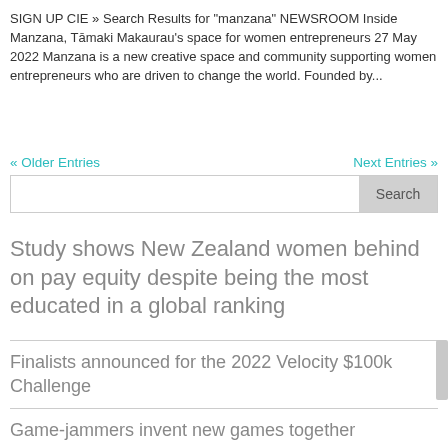SIGN UP CIE » Search Results for "manzana" NEWSROOM Inside Manzana, Tāmaki Makaurau's space for women entrepreneurs 27 May 2022 Manzana is a new creative space and community supporting women entrepreneurs who are driven to change the world. Founded by...
« Older Entries
Next Entries »
Search
Study shows New Zealand women behind on pay equity despite being the most educated in a global ranking
Finalists announced for the 2022 Velocity $100k Challenge
Game-jammers invent new games together